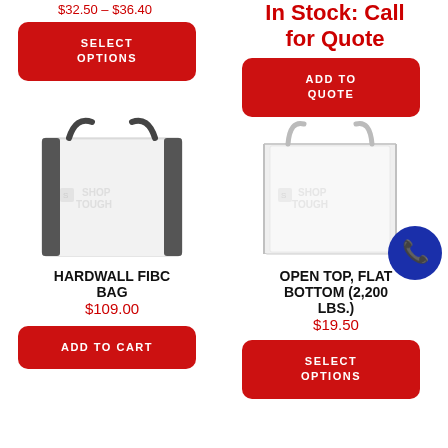$32.50 – $36.40
In Stock: Call for Quote
SELECT OPTIONS
ADD TO QUOTE
[Figure (photo): Hardwall FIBC bulk bag, white with black straps]
[Figure (photo): Open top flat bottom FIBC bulk bag, white]
HARDWALL FIBC BAG
OPEN TOP, FLAT BOTTOM (2,200 LBS.)
$109.00
$19.50
ADD TO CART
SELECT OPTIONS